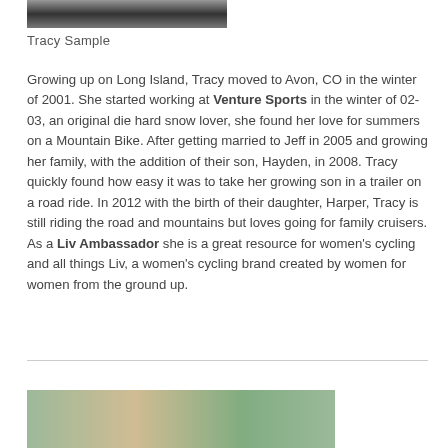[Figure (photo): Top portion of a photo of Tracy Sample, cropped at top of page]
Tracy Sample
Growing up on Long Island, Tracy moved to Avon, CO in the winter of 2001. She started working at Venture Sports in the winter of 02-03, an original die hard snow lover, she found her love for summers on a Mountain Bike. After getting married to Jeff in 2005 and growing her family, with the addition of their son, Hayden, in 2008. Tracy quickly found how easy it was to take her growing son in a trailer on a road ride. In 2012 with the birth of their daughter, Harper, Tracy is still riding the road and mountains but loves going for family cruisers. As a Liv Ambassador she is a great resource for women's cycling and all things Liv, a women's cycling brand created by women for women from the ground up.
[Figure (photo): Outdoor winter photo showing trees and a wooden structure, partially visible at bottom of page]